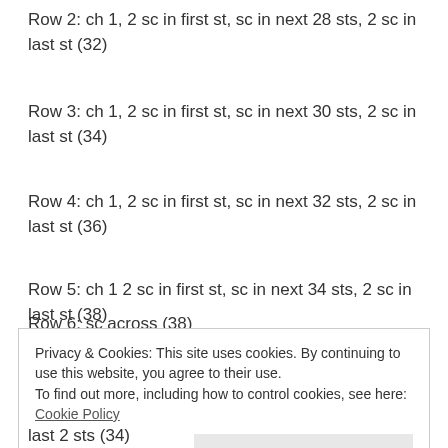Row 2: ch 1, 2 sc in first st, sc in next 28 sts, 2 sc in last st (32)
Row 3: ch 1, 2 sc in first st, sc in next 30 sts, 2 sc in last st (34)
Row 4: ch 1, 2 sc in first st, sc in next 32 sts, 2 sc in last st (36)
Row 5: ch 1 2 sc in first st, sc in next 34 sts, 2 sc in last st (38)
Row 6: sc across (38)
Privacy & Cookies: This site uses cookies. By continuing to use this website, you agree to their use. To find out more, including how to control cookies, see here: Cookie Policy
last 2 sts (34)